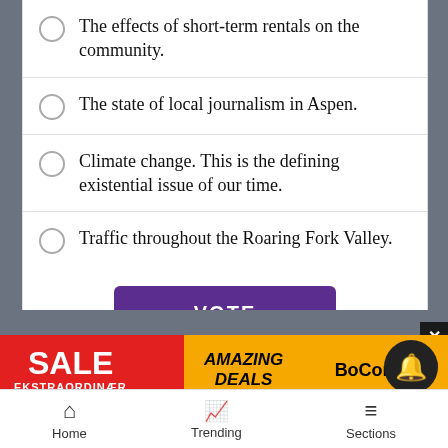The effects of short-term rentals on the community.
The state of local journalism in Aspen.
Climate change. This is the defining existential issue of our time.
Traffic throughout the Roaring Fork Valley.
VOTE
VIEW RESULTS
[Figure (infographic): Advertisement banner: SALE EKSTRAORDINÆR AMAZING DEALS BoConcept]
Home  Trending  Sections